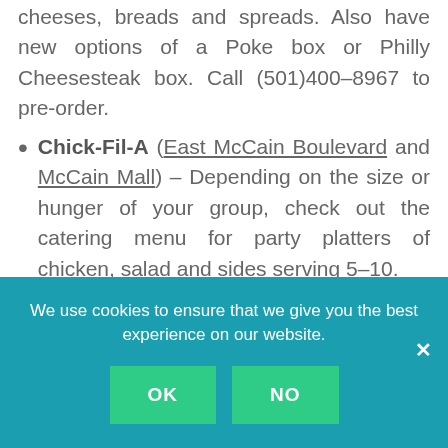cheeses, breads and spreads. Also have new options of a Poke box or Philly Cheesesteak box. Call (501)400-8967 to pre-order.
Chick-Fil-A (East McCain Boulevard and McCain Mall) – Depending on the size or hunger of your group, check out the catering menu for party platters of chicken, salad and sides serving 5–10.
Chicot Hibachi – special family meals serve 4–5 people, and for $35 (plus tax) include hibachi rice, hibachi veggies, hibachi chicken, egg rolls and yum-yum sauce
We use cookies to ensure that we give you the best experience on our website.